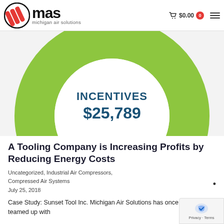MAS michigan air solutions | $0.00
[Figure (donut-chart): Partial donut chart (green) showing INCENTIVES $25,789 in the center, cropped at top of visible area]
A Tooling Company is Increasing Profits by Reducing Energy Costs
Uncategorized, Industrial Air Compressors, Compressed Air Systems
July 25, 2018
Case Study: Sunset Tool Inc. Michigan Air Solutions has once again teamed up with